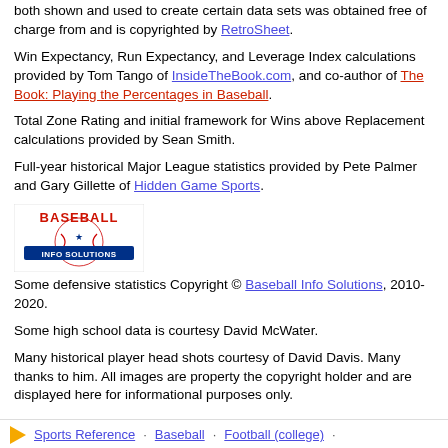both shown and used to create certain data sets was obtained free of charge from and is copyrighted by RetroSheet.
Win Expectancy, Run Expectancy, and Leverage Index calculations provided by Tom Tango of InsideTheBook.com, and co-author of The Book: Playing the Percentages in Baseball.
Total Zone Rating and initial framework for Wins above Replacement calculations provided by Sean Smith.
Full-year historical Major League statistics provided by Pete Palmer and Gary Gillette of Hidden Game Sports.
[Figure (logo): Baseball Info Solutions logo — red arched text 'BASEBALL' over blue 'INFO SOLUTIONS' with a star and baseball graphic]
Some defensive statistics Copyright © Baseball Info Solutions, 2010-2020.
Some high school data is courtesy David McWater.
Many historical player head shots courtesy of David Davis. Many thanks to him. All images are property the copyright holder and are displayed here for informational purposes only.
Sports Reference · Baseball · Football (college) ·